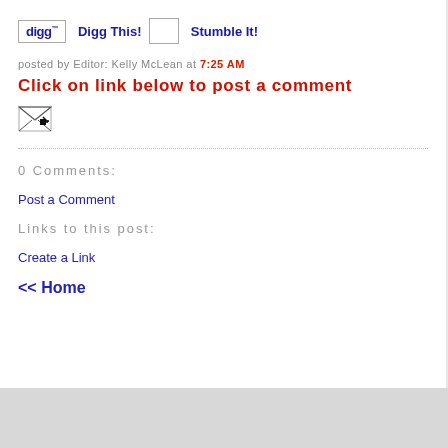[Figure (other): Social sharing buttons: Digg This! and Stumble It!]
posted by Editor: Kelly McLean at 7:25 AM
Click on link below to post a comment
[Figure (other): Email/forward icon button]
0 Comments:
Post a Comment
Links to this post:
Create a Link
<< Home